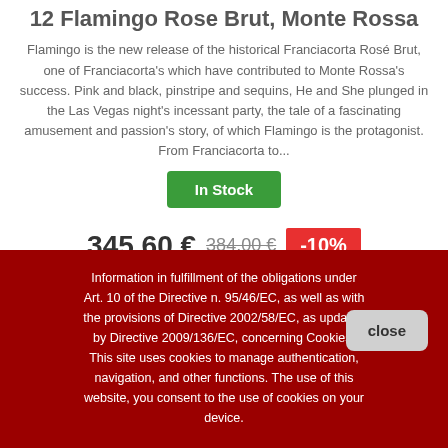12 Flamingo Rose Brut, Monte Rossa
Flamingo is the new release of the historical Franciacorta Rosé Brut, one of Franciacorta's which have contributed to Monte Rossa's success. Pink and black, pinstripe and sequins, He and She plunged in the Las Vegas night's incessant party, the tale of a fascinating amusement and passion's story, of which Flamingo is the protagonist. From Franciacorta to...
In Stock
345,60 € 384,00 € -10%
Information in fulfillment of the obligations under Art. 10 of the Directive n. 95/46/EC, as well as with the provisions of Directive 2002/58/EC, as updated by Directive 2009/136/EC, concerning Cookies. This site uses cookies to manage authentication, navigation, and other functions. The use of this website, you consent to the use of cookies on your device.
close
display our information about privacy and cookie